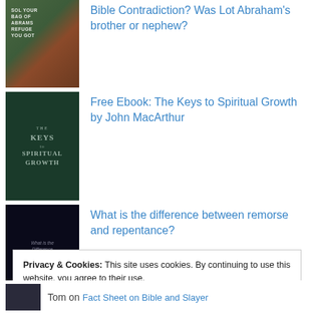Bible Contradiction? Was Lot Abraham's brother or nephew?
[Figure (photo): Book cover thumbnail - colorful outdoor/nature scene]
Free Ebook: The Keys to Spiritual Growth by John MacArthur
[Figure (photo): Book cover - The Keys to Spiritual Growth, dark green background with white text]
What is the difference between remorse and repentance?
[Figure (photo): Book cover thumbnail - dark/black background with blurred text about remorse and repentance]
Privacy & Cookies: This site uses cookies. By continuing to use this website, you agree to their use.
To find out more, including how to control cookies, see here: Cookie Policy
Close and accept
Tom on Fact Sheet on Bible and Slayer